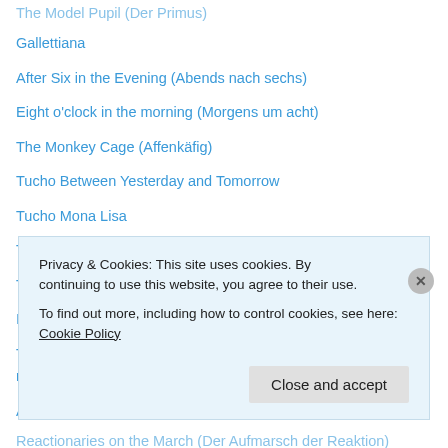The Model Pupil (Der Primus)
Gallettiana
After Six in the Evening (Abends nach sechs)
Eight o'clock in the morning (Morgens um acht)
The Monkey Cage (Affenkäfig)
Tucho Between Yesterday and Tomorrow
Tucho Mona Lisa
Tucho Kästner
Tucho Society Reader
I Want to be a Student (Ich möchte Student sein)
The Man with the Two Short-Service Commissions (Der Mann mit den zwei Einjährigen)
A Boy in My Class (Ein Kind aus meiner Klasse)
Reactionaries on the March (Der Aufmarsch der Reaktion)
Privacy & Cookies: This site uses cookies. By continuing to use this website, you agree to their use.
To find out more, including how to control cookies, see here: Cookie Policy
Close and accept